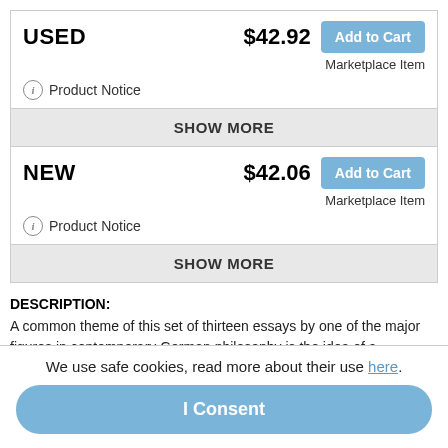USED  $42.92  Add to Cart  Marketplace Item
Product Notice
SHOW MORE
NEW  $42.06  Add to Cart  Marketplace Item
Product Notice
SHOW MORE
DESCRIPTION:
A common theme of this set of thirteen essays by one of the major figures in contemporary German philosophy is the idea of a postmetaphysical modernity. In his preface Abrecht Wellmer relates the title of his book,
We use safe cookies, read more about their use here.
I Consent